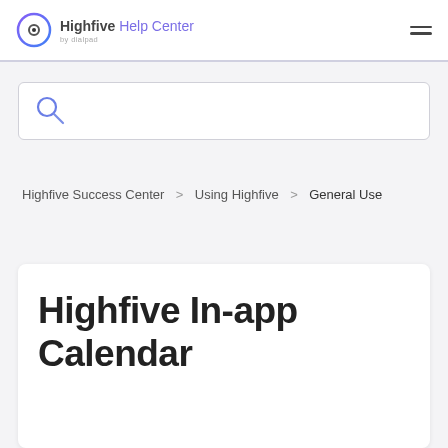Highfive Help Center by dialpad
[Figure (other): Search input box with a blue magnifying glass icon]
Highfive Success Center > Using Highfive > General Use
Highfive In-app Calendar